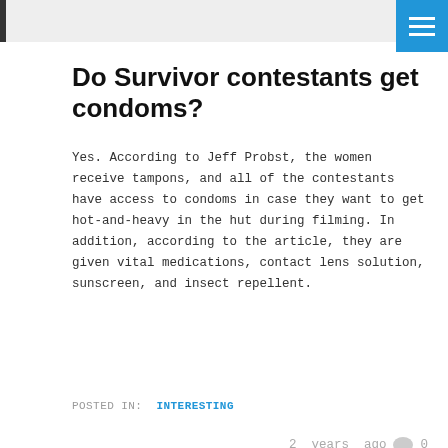Do Survivor contestants get condoms?
Yes. According to Jeff Probst, the women receive tampons, and all of the contestants have access to condoms in case they want to get hot-and-heavy in the hut during filming. In addition, according to the article, they are given vital medications, contact lens solution, sunscreen, and insect repellent.
POSTED IN: INTERESTING
2 years ago  0
LEAVE A REPLY
Your email address will not be published. Required